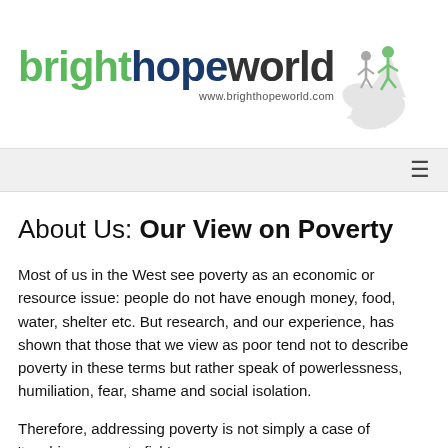[Figure (logo): Bright Hope World logo with figure/star graphic and URL www.brighthopeworld.com]
About Us: Our View on Poverty
Most of us in the West see poverty as an economic or resource issue: people do not have enough money, food, water, shelter etc. But research, and our experience, has shown that those that we view as poor tend not to describe poverty in these terms but rather speak of powerlessness, humiliation, fear, shame and social isolation.
Therefore, addressing poverty is not simply a case of 'teaching a man to fish'.